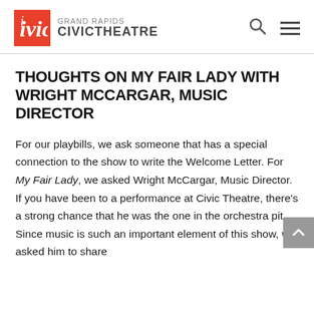Grand Rapids Civic Theatre
THOUGHTS ON MY FAIR LADY WITH WRIGHT MCCARGAR, MUSIC DIRECTOR
For our playbills, we ask someone that has a special connection to the show to write the Welcome Letter. For My Fair Lady, we asked Wright McCargar, Music Director. If you have been to a performance at Civic Theatre, there’s a strong chance that he was the one in the orchestra pit. Since music is such an important element of this show, we asked him to share